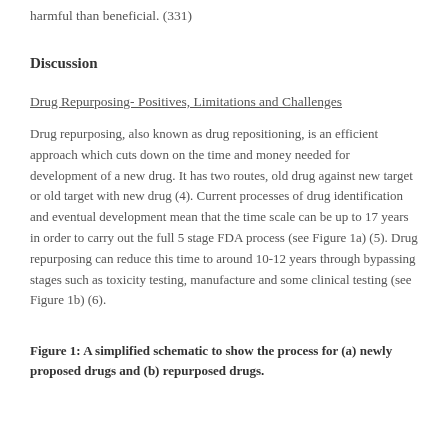harmful than beneficial. (331)
Discussion
Drug Repurposing- Positives, Limitations and Challenges
Drug repurposing, also known as drug repositioning, is an efficient approach which cuts down on the time and money needed for development of a new drug. It has two routes, old drug against new target or old target with new drug (4). Current processes of drug identification and eventual development mean that the time scale can be up to 17 years in order to carry out the full 5 stage FDA process (see Figure 1a) (5). Drug repurposing can reduce this time to around 10-12 years through bypassing stages such as toxicity testing, manufacture and some clinical testing (see Figure 1b) (6).
Figure 1: A simplified schematic to show the process for (a) newly proposed drugs and (b) repurposed drugs.